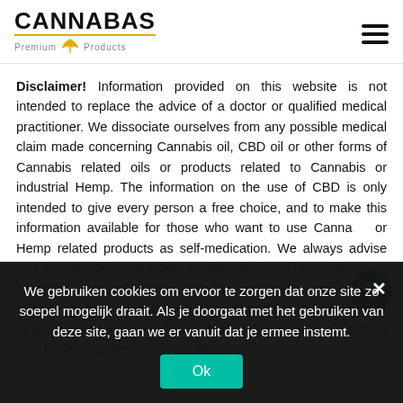[Figure (logo): CANNABAS Premium Products logo with golden leaf emblem]
Disclaimer! Information provided on this website is not intended to replace the advice of a doctor or qualified medical practitioner. We dissociate ourselves from any possible medical claim made concerning Cannabis oil, CBD oil or other forms of Cannabis related oils or products related to Cannabis or industrial Hemp. The information on the use of CBD is only intended to give every person a free choice, and to make this information available for those who want to use Cannabis or Hemp related products as self-medication. We always advise you to pay close attention to the advice of your doctor or specialist medical adviser. We do not make any medical statements here in order to subsequently treat, diagnose, cure or prevent ailments, illnesses or defects. CBD can be consumed as a health supplement. In accordance
We gebruiken cookies om ervoor te zorgen dat onze site zo soepel mogelijk draait. Als je doorgaat met het gebruiken van deze site, gaan we er vanuit dat je ermee instemt.